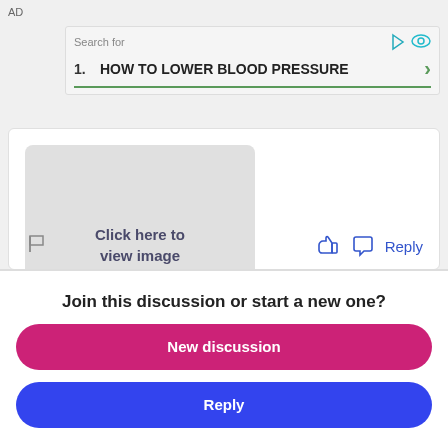AD
[Figure (screenshot): Search ad box with 'Search for' label and item '1. HOW TO LOWER BLOOD PRESSURE' with green chevron arrow]
[Figure (screenshot): Post card with image placeholder reading 'Click here to view image', flag icon, thumbs up icon, chat bubble icon, and Reply button]
Join this discussion or start a new one?
New discussion
Reply